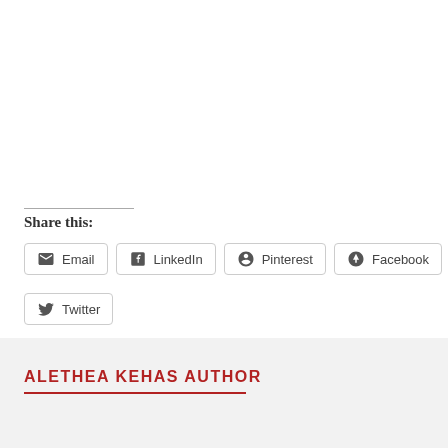Share this:
Email
LinkedIn
Pinterest
Facebook
Twitter
Loading...
ALETHEA KEHAS AUTHOR